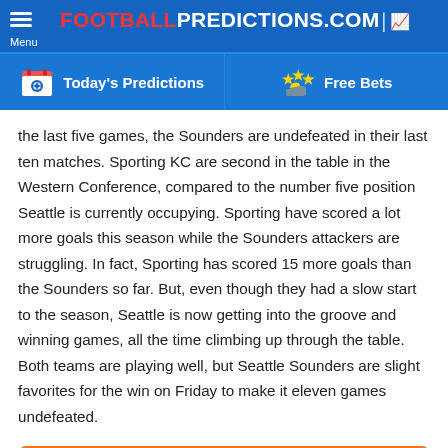FOOTBALL PREDICTIONS.COM
Today's Predictions | Free Bets
the last five games, the Sounders are undefeated in their last ten matches. Sporting KC are second in the table in the Western Conference, compared to the number five position Seattle is currently occupying. Sporting have scored a lot more goals this season while the Sounders attackers are struggling. In fact, Sporting has scored 15 more goals than the Sounders so far. But, even though they had a slow start to the season, Seattle is now getting into the groove and winning games, all the time climbing up through the table. Both teams are playing well, but Seattle Sounders are slight favorites for the win on Friday to make it eleven games undefeated.
PLACE THIS BET NOW
HIGHLIGHTED PLAYER (NICOLAS LODEIRO):